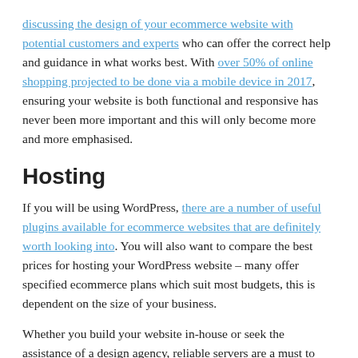discussing the design of your ecommerce website with potential customers and experts who can offer the correct help and guidance in what works best. With over 50% of online shopping projected to be done via a mobile device in 2017, ensuring your website is both functional and responsive has never been more important and this will only become more and more emphasised.
Hosting
If you will be using WordPress, there are a number of useful plugins available for ecommerce websites that are definitely worth looking into. You will also want to compare the best prices for hosting your WordPress website – many offer specified ecommerce plans which suit most budgets, this is dependent on the size of your business.
Whether you build your website in-house or seek the assistance of a design agency, reliable servers are a must to minimise downtime of your website – while you are offline